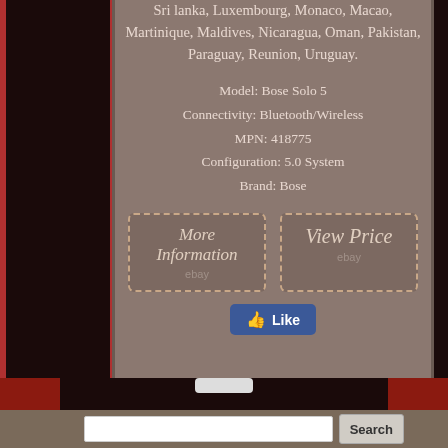Sri lanka, Luxembourg, Monaco, Macao, Martinique, Maldives, Nicaragua, Oman, Pakistan, Paraguay, Reunion, Uruguay.
Model: Bose Solo 5
Connectivity: Bluetooth/Wireless
MPN: 418775
Configuration: 5.0 System
Brand: Bose
[Figure (screenshot): Two eBay buttons: 'More Information' and 'View Price' with dashed borders and ebay logo text]
[Figure (screenshot): Facebook Like button in blue]
[Figure (infographic): Social share icons: Facebook, Twitter, Pinterest, Email]
[Figure (screenshot): Search bar with input field and Search button at bottom]